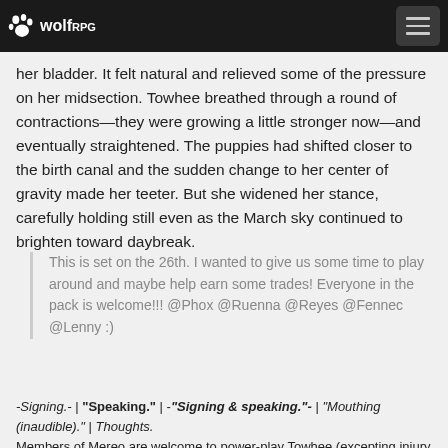wolfRPG
her bladder. It felt natural and relieved some of the pressure on her midsection. Towhee breathed through a round of contractions—they were growing a little stronger now—and eventually straightened. The puppies had shifted closer to the birth canal and the sudden change to her center of gravity made her teeter. But she widened her stance, carefully holding still even as the March sky continued to brighten toward daybreak.
This is set on the 26th. I wanted to give us some time to play around and maybe help earn some trades! Everyone in the pack is welcome!!! @Phox @Ruenna @Reyes @Fennec @Lenny :)
-Signing.- | "Speaking." | -"Signing & speaking."- | "Mouthing (inaudible)." | Thoughts.
Members of Mereo are welcome to power-play Towhee (excepting injury or death) for cohesion and continuity, whether or not she's an active participant in a thread. Just tag me!